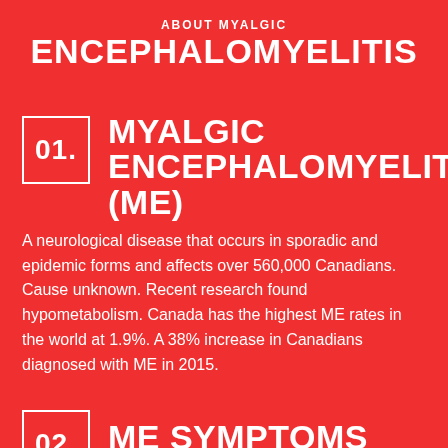ABOUT MYALGIC ENCEPHALOMYELITIS
01. MYALGIC ENCEPHALOMYELITIS (ME)
A neurological disease that occurs in sporadic and epidemic forms and affects over 560,000 Canadians. Cause unknown. Recent research found hypometabolism. Canada has the highest ME rates in the world at 1.9%. A 38% increase in Canadians diagnosed with ME in 2015.
02. ME SYMPTOMS
ME affects multiple body systems (immune, endocrine,